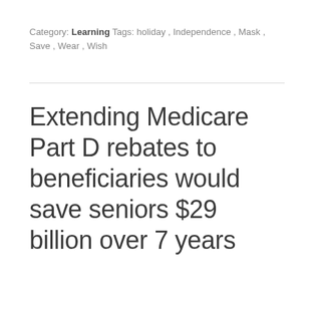Category: Learning Tags: holiday , Independence , Mask , Save , Wear , Wish
Extending Medicare Part D rebates to beneficiaries would save seniors $29 billion over 7 years